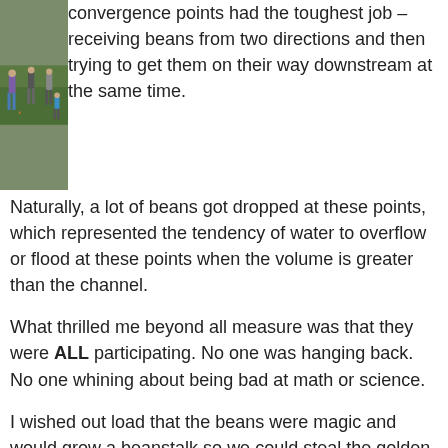[Figure (photo): Outdoor photo of children and adults playing a bean-passing activity on a grass field. Several people in casual clothes, one wearing a purple top, standing on green grass.]
convergence points had the toughest job – receiving beans from two directions and then trying to get them on their way downstream at the same time. Naturally, a lot of beans got dropped at these points, which represented the tendency of water to overflow or flood at these points when the volume is greater than the channel.
What thrilled me beyond all measure was that they were ALL participating. No one was hanging back. No one whining about being bad at math or science.
I wished out load that the beans were magic and would grow a beanstalk so we could steal the golden goose and fund our building project. This